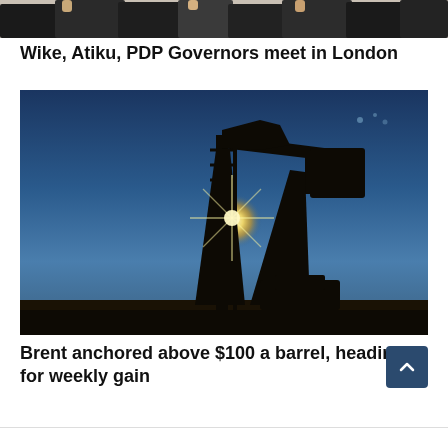[Figure (photo): Partial view of a group of people standing together, cropped at top of page]
Wike, Atiku, PDP Governors meet in London
[Figure (photo): Oil pump jack silhouetted against a twilight sky with sun rays visible behind the derrick structure]
Brent anchored above $100 a barrel, heading for weekly gain